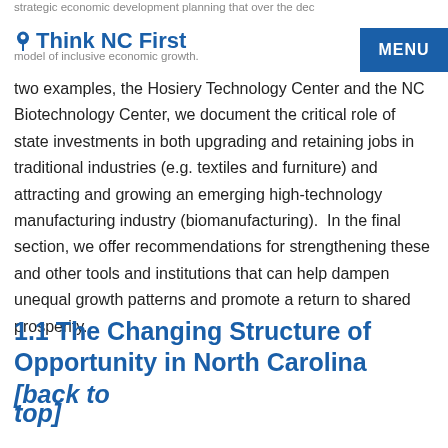Think NC First [MENU]
two examples, the Hosiery Technology Center and the NC Biotechnology Center, we document the critical role of state investments in both upgrading and retaining jobs in traditional industries (e.g. textiles and furniture) and attracting and growing an emerging high-technology manufacturing industry (biomanufacturing).  In the final section, we offer recommendations for strengthening these and other tools and institutions that can help dampen unequal growth patterns and promote a return to shared prosperity.
1.1 The Changing Structure of Opportunity in North Carolina [back to top]